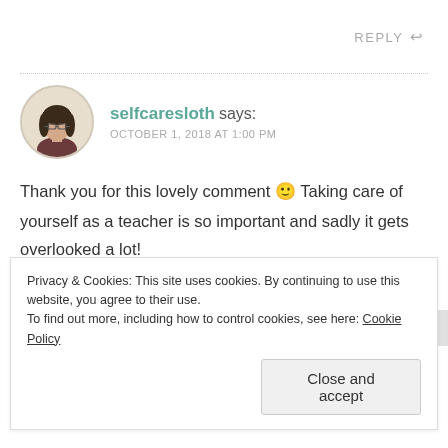REPLY ↩
selfcaresloth says: OCTOBER 1, 2018 AT 1:00 PM
[Figure (photo): Circular avatar photo of a person with long dark hair and glasses]
Thank you for this lovely comment 🙂 Taking care of yourself as a teacher is so important and sadly it gets overlooked a lot!
Liked by 1 person
Privacy & Cookies: This site uses cookies. By continuing to use this website, you agree to their use. To find out more, including how to control cookies, see here: Cookie Policy
Close and accept